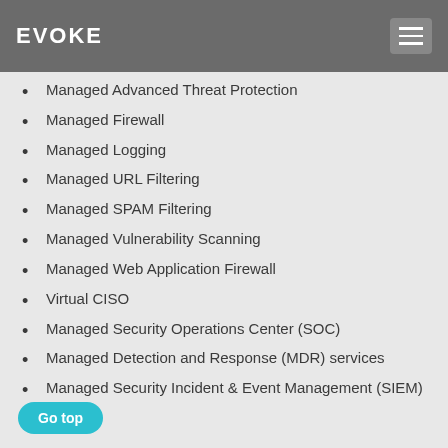EVOKE
customers with the following:
Managed Advanced Threat Protection
Managed Firewall
Managed Logging
Managed URL Filtering
Managed SPAM Filtering
Managed Vulnerability Scanning
Managed Web Application Firewall
Virtual CISO
Managed Security Operations Center (SOC)
Managed Detection and Response (MDR) services
Managed Security Incident & Event Management (SIEM)